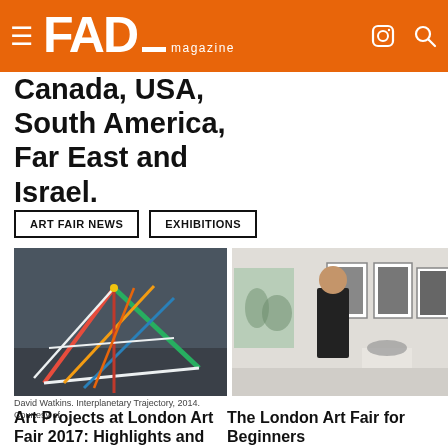FAD magazine
Guest Artists from 75 countries across Canada, USA, South America, Far East and Israel.
ART FAIR NEWS
EXHIBITIONS
[Figure (photo): Sculpture installation by David Watkins, Interplanetary Trajectory, 2014. Colourful geometric stick-like sculpture in a gallery space.]
David Watkins. Interplanetary Trajectory, 2014. Courtesy of
[Figure (photo): Person in black standing in a gallery with framed photos on wall and a sculpture on a plinth.]
Art Projects at London Art Fair 2017: Highlights and 'Dialogues'
The London Art Fair for Beginners
Experienced visitors don't find it hard to navigate the